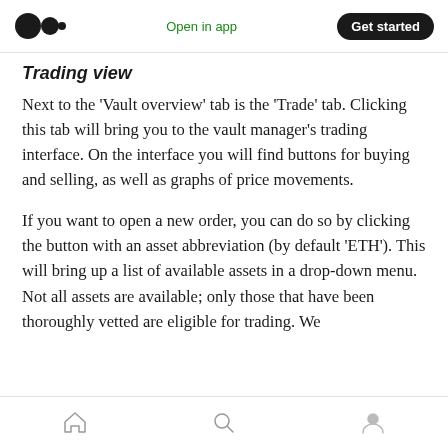Open in app | Get started
Trading view
Next to the ‘Vault overview’ tab is the ‘Trade’ tab. Clicking this tab will bring you to the vault manager’s trading interface. On the interface you will find buttons for buying and selling, as well as graphs of price movements.
If you want to open a new order, you can do so by clicking the button with an asset abbreviation (by default ‘ETH’). This will bring up a list of available assets in a drop-down menu. Not all assets are available; only those that have been thoroughly vetted are eligible for trading. We
Home | Search | Profile